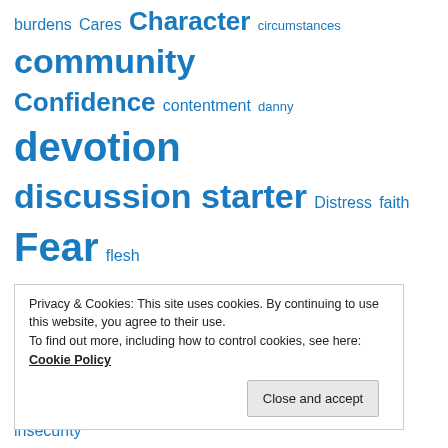burdens Cares Character circumstances community Confidence contentment danny devotion discussion starter Distress faith Fear flesh focus games you can pray grace hard-times Holy Spirit Hope humility injustice insecurity Integrity jealousy joy kids lifestyle Love loyalty Mission-net motivation Movies music News new song newswatch orlando overcoming Pass it on peace perspective prayer pride prophetic quiet time
Privacy & Cookies: This site uses cookies. By continuing to use this website, you agree to their use. To find out more, including how to control cookies, see here: Cookie Policy Close and accept